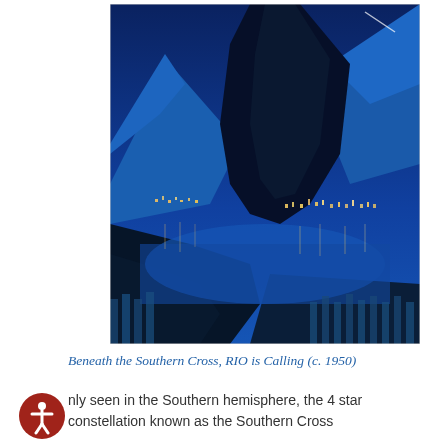[Figure (illustration): A nighttime painting/artwork of Rio de Janeiro showing Sugar Loaf mountain silhouetted in dark blue-black against a deep blue sky, with the city lights reflecting on Guanabara Bay below, rendered in shades of blue with warm yellow/orange city lights.]
Beneath the Southern Cross, RIO is Calling (c. 1950)
nly seen in the Southern hemisphere, the 4 star constellation known as the Southern Cross